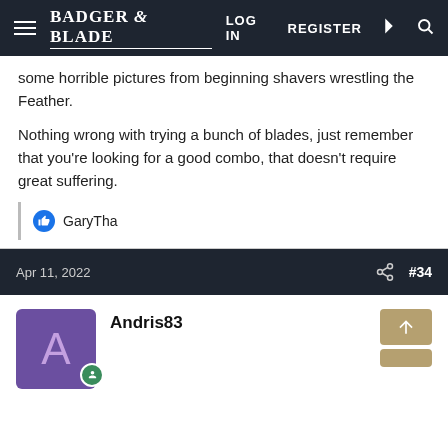Badger & Blade — LOG IN  REGISTER
some horrible pictures from beginning shavers wrestling the Feather.
Nothing wrong with trying a bunch of blades, just remember that you're looking for a good combo, that doesn't require great suffering.
GaryTha
Apr 11, 2022  #34
Andris83